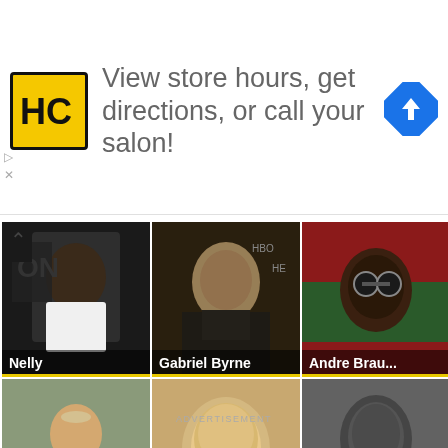[Figure (infographic): Advertisement banner for Hair Club (HC) with yellow square logo, text 'View store hours, get directions, or call your salon!' and blue diamond navigation icon]
[Figure (photo): Grid of six celebrity photos: Nelly, Gabriel Byrne, Andre Brau..., Steve Prefo..., Liv Ullmann, Marcel Khalife]
ADVERTISEMENT